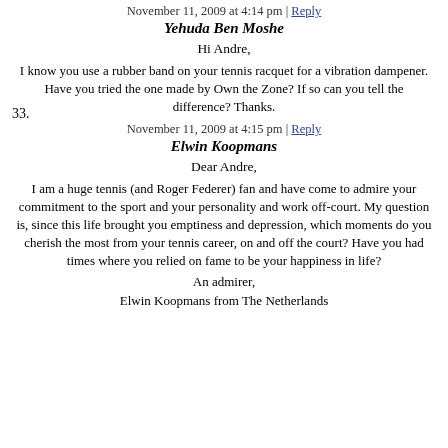November 11, 2009 at 4:14 pm | Reply
32. Yehuda Ben Moshe
Hi Andre,
I know you use a rubber band on your tennis racquet for a vibration dampener. Have you tried the one made by Own the Zone? If so can you tell the difference? Thanks.
November 11, 2009 at 4:15 pm | Reply
33. Elwin Koopmans
Dear Andre,
I am a huge tennis (and Roger Federer) fan and have come to admire your commitment to the sport and your personality and work off-court. My question is, since this life brought you emptiness and depression, which moments do you cherish the most from your tennis career, on and off the court? Have you had times where you relied on fame to be your happiness in life?
An admirer,
Elwin Koopmans from The Netherlands